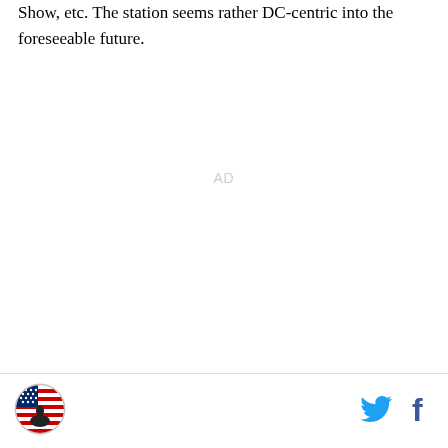Show, etc. The station seems rather DC-centric into the foreseeable future.
[Figure (other): AD placeholder text centered on page]
[Figure (logo): Circular logo with American flag and Capitol building silhouette]
[Figure (other): Twitter bird icon in blue]
[Figure (other): Facebook 'f' icon in dark blue]